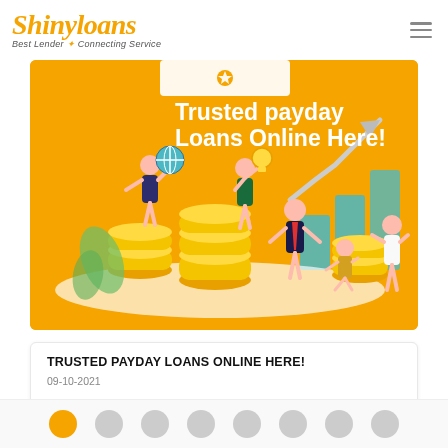Shinyloans — Best Lender Connecting Service
[Figure (illustration): Orange banner with illustrated people standing on gold coin stacks, a globe, light bulb, upward arrow chart, and white text reading 'Trusted payday Loans Online Here!']
TRUSTED PAYDAY LOANS ONLINE HERE!
09-10-2021